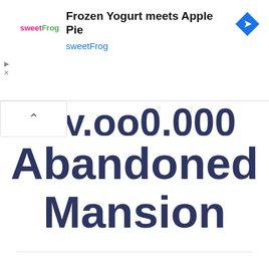[Figure (infographic): Advertisement banner: sweetFrog logo on left, headline 'Frozen Yogurt meets Apple Pie' in bold, 'sweetFrog' in blue below, blue diamond navigation icon on right. Play and close (X) controls on far left.]
Abandoned Mansion
June 22, 2020
RiddimRyder
3 Comments